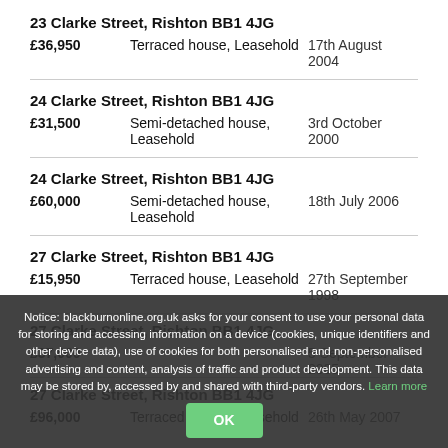23 Clarke Street, Rishton BB1 4JG
£36,950  Terraced house, Leasehold  17th August 2004
24 Clarke Street, Rishton BB1 4JG
£31,500  Semi-detached house, Leasehold  3rd October 2000
24 Clarke Street, Rishton BB1 4JG
£60,000  Semi-detached house, Leasehold  18th July 2006
27 Clarke Street, Rishton BB1 4JG
£15,950  Terraced house, Leasehold  27th September 1998
27 Clarke Street, Rishton BB1 4JG
£37,000  5 September 2005
27 Clarke Street, Rishton BB1 4JG
£96,000  Terraced house, Leasehold  26th May 2007
Notice: blackburnonline.org.uk asks for your consent to use your personal data for storing and accessing information on a device (cookies, unique identifiers and other device data), use of cookies for both personalised and non-personalised advertising and content, analysis of traffic and product development. This data may be stored by, accessed by and shared with third-party vendors. Learn more